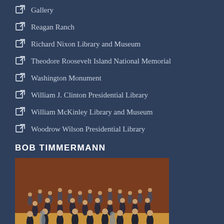Gallery
Reagan Ranch
Richard Nixon Library and Museum
Theodore Roosevelt Island National Memorial
Washington Monument
William J. Clinton Presidential Library
William McKinley Library and Museum
Woodrow Wilson Presidential Library
BOB TIMMERMANN
[Figure (photo): Photo of a collection of presidential figurines arranged in rows on a wooden surface against a red/brown background]